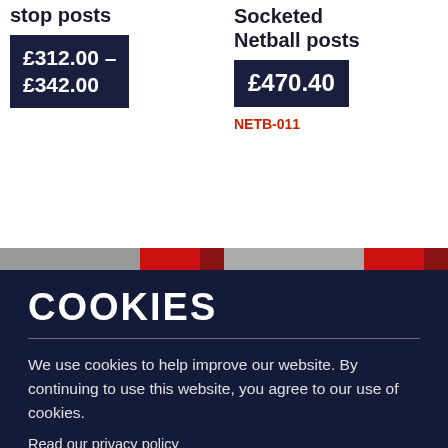stop posts
£312.00 – £342.00
Socketed Netball posts
£470.40
NETB-011
[Figure (photo): Partial images of two netball post products with red accents]
COOKIES
We use cookies to help improve our website. By continuing to use this website, you agree to our use of cookies.
Read our privacy policy
ACCEPT AND CLOSE  X